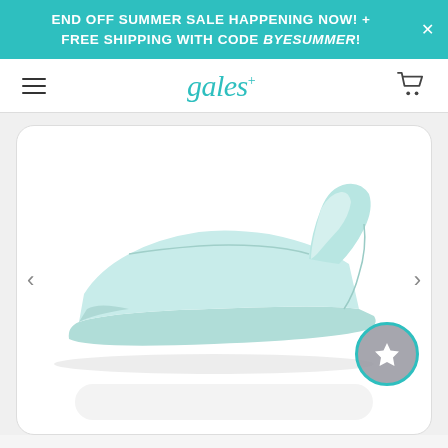END OFF SUMMER SALE HAPPENING NOW! + FREE SHIPPING WITH CODE BYESUMMER!
gales+
[Figure (photo): Close-up photograph of a mint/light teal colored slip-on shoe/sneaker against a white background, showing the side and back collar of the shoe. The shoe has a smooth rubber or foam exterior with a distinctive high back collar.]
[Figure (other): Circular wishlist/favorite button with a white star icon on a grey-blue background, with a teal border ring]